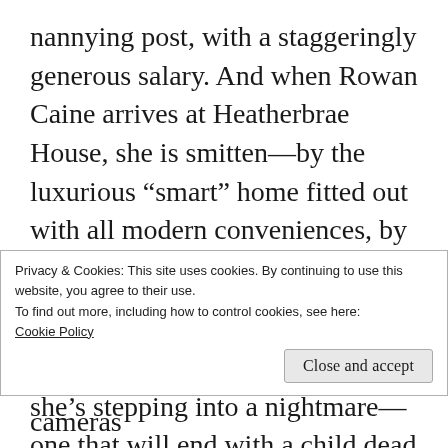nannying post, with a staggeringly generous salary. And when Rowan Caine arrives at Heatherbrae House, she is smitten—by the luxurious “smart” home fitted out with all modern conveniences, by the beautiful Scottish Highlands, and by this picture-perfect family.
What she doesn’t know is that she’s stepping into a nightmare—one that will end with a child dead and herself in prison awaiting trial for murder.
Privacy & Cookies: This site uses cookies. By continuing to use this website, you agree to their use.
To find out more, including how to control cookies, see here:
Cookie Policy
constant surveillance from the cameras